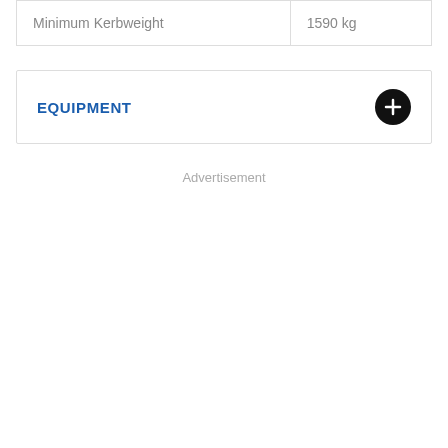| Minimum Kerbweight | 1590 kg |
EQUIPMENT
Advertisement